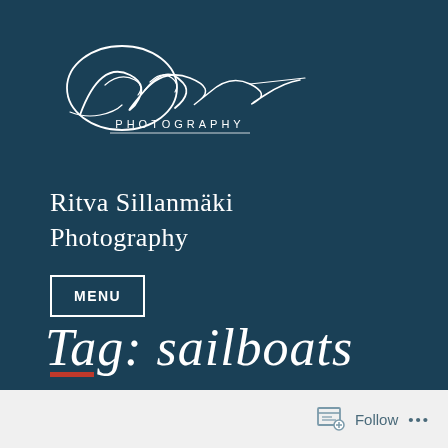[Figure (logo): Ritva Sillanmäki Photography signature logo in white cursive script with 'PHOTOGRAPHY' text below]
Ritva Sillanmäki Photography
MENU
Tag: sailboats
Sea fortress
Follow ...